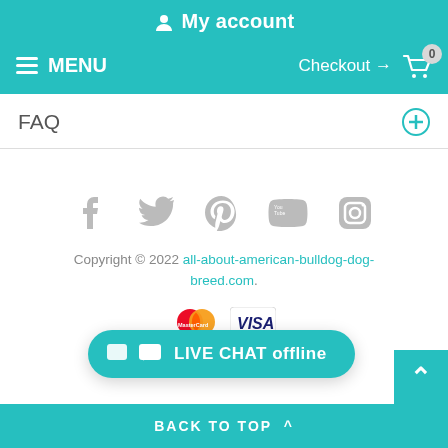My account
≡ MENU   Checkout → 🛒 0
FAQ
[Figure (infographic): Social media icons: Facebook, Twitter, Pinterest, YouTube, Instagram]
Copyright © 2022 all-about-american-bulldog-dog-breed.com.
[Figure (infographic): MasterCard and Visa payment logos]
[Figure (infographic): LIVE CHAT offline button]
BACK TO TOP ^